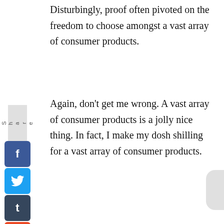Disturbingly, proof often pivoted on the freedom to choose amongst a vast array of consumer products.
Again, don't get me wrong. A vast array of consumer products is a jolly nice thing. In fact, I make my dosh shilling for a vast array of consumer products.
But consuming in quantity does not equal living in freedom.
You can walk right into any American supermarket you damn well please and vote with your wallet for Liquid Plum®, over